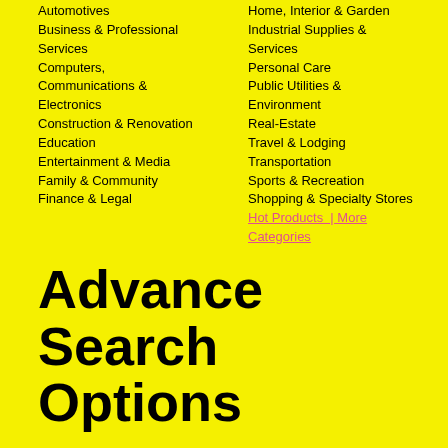Automotives
Business & Professional Services
Computers, Communications & Electronics
Construction & Renovation
Education
Entertainment & Media
Family & Community
Finance & Legal
Home, Interior & Garden
Industrial Supplies & Services
Personal Care
Public Utilities & Environment
Real-Estate
Travel & Lodging
Transportation
Sports & Recreation
Shopping & Specialty Stores
Hot Products  | More Categories
Advance Search Options
Search Multiple Keywords or a Phrase
Search Option?